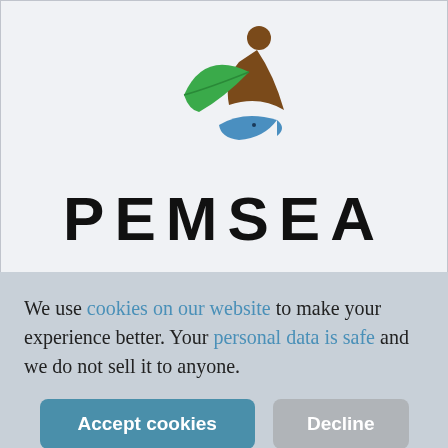[Figure (logo): PEMSEA logo: stylized icon with a green leaf, brown human figure, and blue fish, above the text PEMSEA in large bold uppercase letters]
We use cookies on our website to make your experience better. Your personal data is safe and we do not sell it to anyone.